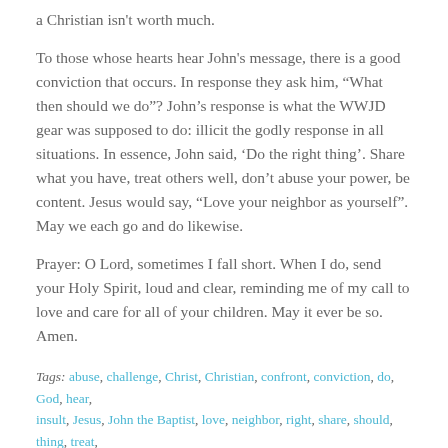a Christian isn't worth much.
To those whose hearts hear John's message, there is a good conviction that occurs. In response they ask him, “What then should we do”? John’s response is what the WWJD gear was supposed to do: illicit the godly response in all situations. In essence, John said, ‘Do the right thing’. Share what you have, treat others well, don’t abuse your power, be content. Jesus would say, “Love your neighbor as yourself”. May we each go and do likewise.
Prayer: O Lord, sometimes I fall short. When I do, send your Holy Spirit, loud and clear, reminding me of my call to love and care for all of your children. May it ever be so. Amen.
Tags: abuse, challenge, Christ, Christian, confront, conviction, do, God, hear, insult, Jesus, John the Baptist, love, neighbor, right, share, should, thing, treat, we, what, would | Permalink.